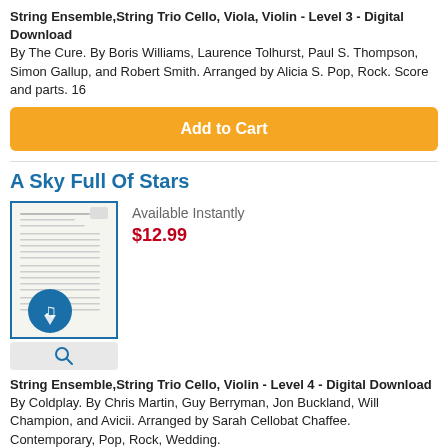String Ensemble,String Trio Cello, Viola, Violin - Level 3 - Digital Download By The Cure. By Boris Williams, Laurence Tolhurst, Paul S. Thompson, Simon Gallup, and Robert Smith. Arranged by Alicia S. Pop, Rock. Score and parts. 16
Add to Cart
A Sky Full Of Stars
[Figure (illustration): Thumbnail of sheet music with a blue border and a digital download icon (blue circle with music note and down arrow) overlaid on the bottom left of the sheet music image.]
Available Instantly
$12.99
String Ensemble,String Trio Cello, Violin - Level 4 - Digital Download By Coldplay. By Chris Martin, Guy Berryman, Jon Buckland, Will Champion, and Avicii. Arranged by Sarah Cellobat Chaffee. Contemporary, Pop, Rock, Wedding.
Add to Cart